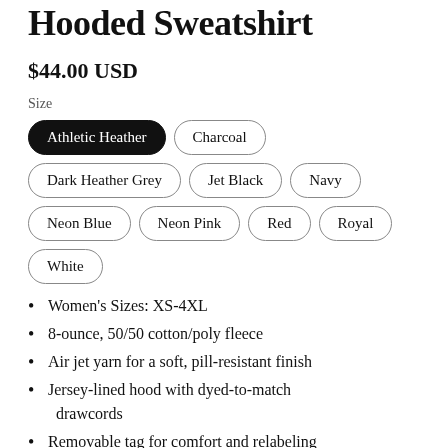Hooded Sweatshirt
$44.00 USD
Size
Athletic Heather (selected)
Charcoal
Dark Heather Grey
Jet Black
Navy
Neon Blue
Neon Pink
Red
Royal
White
Women's Sizes: XS-4XL
8-ounce, 50/50 cotton/poly fleece
Air jet yarn for a soft, pill-resistant finish
Jersey-lined hood with dyed-to-match drawcords
Removable tag for comfort and relabeling